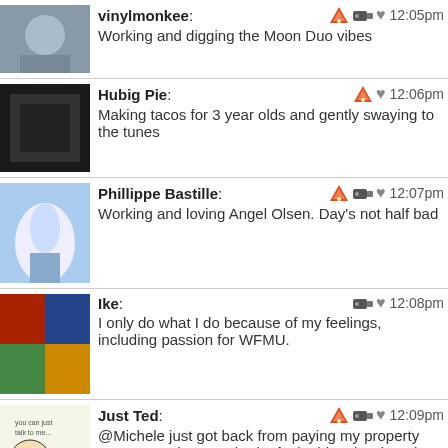vinylmonkee: Working and digging the Moon Duo vibes 12:05pm
Hubig Pie: Making tacos for 3 year olds and gently swaying to the tunes 12:06pm
Phillippe Bastille: Working and loving Angel Olsen. Day's not half bad 12:07pm
Ike: I only do what I do because of my feelings, including passion for WFMU. 12:08pm
Just Ted: @Michele just got back from paying my property taxes. But, thats not bad, I feel a bit unburdened. 12:09pm
Krys O.: Good afternoon! 12:09pm
John from Florham park: @Michele just voted fir the first time since I moved back into this state 12:09pm